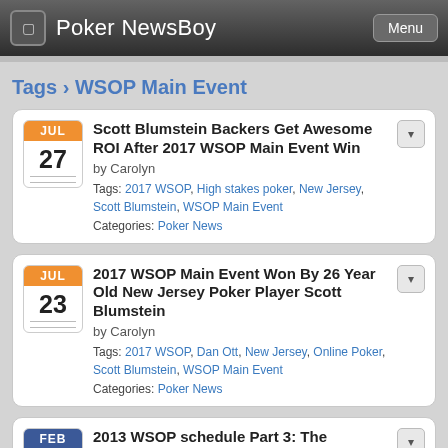Poker NewsBoy  Menu
Tags › WSOP Main Event
JUL 27 — Scott Blumstein Backers Get Awesome ROI After 2017 WSOP Main Event Win — by Carolyn — Tags: 2017 WSOP, High stakes poker, New Jersey, Scott Blumstein, WSOP Main Event — Categories: Poker News
JUL 23 — 2017 WSOP Main Event Won By 26 Year Old New Jersey Poker Player Scott Blumstein — by Carolyn — Tags: 2017 WSOP, Dan Ott, New Jersey, Online Poker, Scott Blumstein, WSOP Main Event — Categories: Poker News
FEB 16 — 2013 WSOP schedule Part 3: The Changes — by Steve Ruddock — Tags: Caesar, Casino Employees, Chinese Poker, Event 34, Exhibition Event, Future Years, Gold Bracelets, Hiatus, High Roller, Interactive Entertainment, Millionaire Maker, POA, Promoter, Regulations, To be...